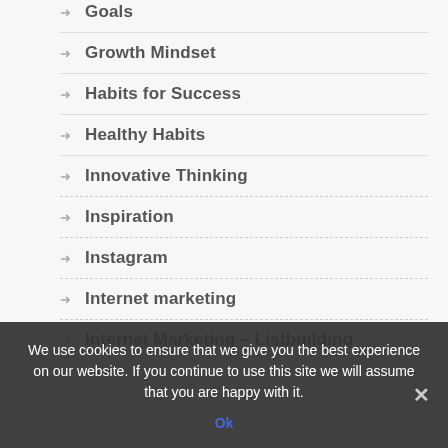Goals
Growth Mindset
Habits for Success
Healthy Habits
Innovative Thinking
Inspiration
Instagram
Internet marketing
Internet Marketing – Listbuilding
We use cookies to ensure that we give you the best experience on our website. If you continue to use this site we will assume that you are happy with it.
Ok